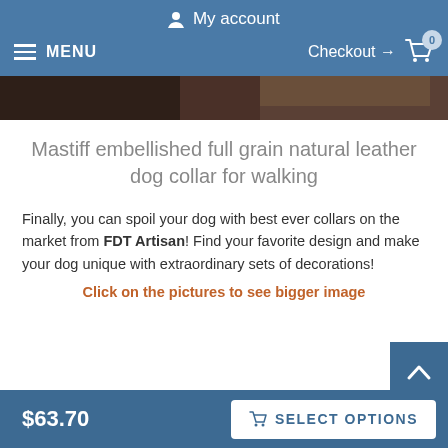My account
MENU  Checkout → 0
[Figure (photo): Close-up photo of a dog (Mastiff), dark fur, cropped at top of page]
Mastiff embellished full grain natural leather dog collar for walking
Finally, you can spoil your dog with best ever collars on the market from FDT Artisan! Find your favorite design and make your dog unique with extraordinary sets of decorations!
Click on the pictures to see bigger image
$63.70  SELECT OPTIONS